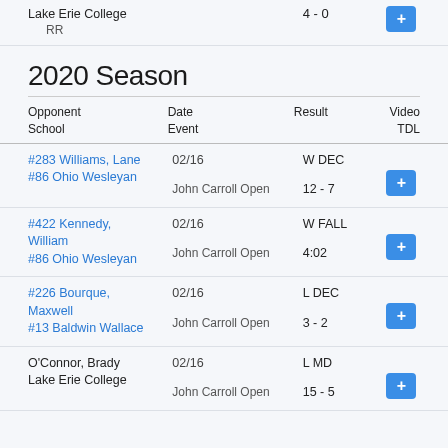| Opponent School | Date Event | Result | Video TDL |
| --- | --- | --- | --- |
| Lake Erie College
RR |  | 4 - 0 | + |
| #283 Williams, Lane
#86 Ohio Wesleyan | 02/16
John Carroll Open | W DEC
12 - 7 | + |
| #422 Kennedy, William
#86 Ohio Wesleyan | 02/16
John Carroll Open | W FALL
4:02 | + |
| #226 Bourque, Maxwell
#13 Baldwin Wallace | 02/16
John Carroll Open | L DEC
3 - 2 | + |
| O'Connor, Brady
Lake Erie College | 02/16
John Carroll Open | L MD
15 - 5 | + |
2020 Season